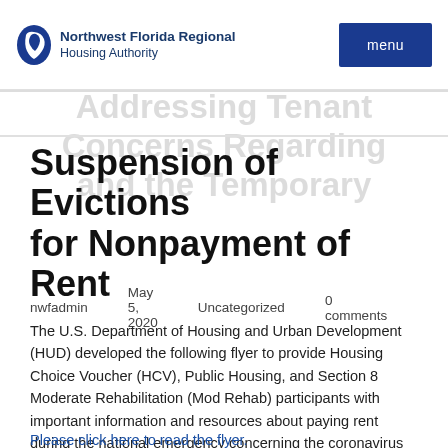Northwest Florida Regional Housing Authority | menu
Suspension of Evictions for Nonpayment of Rent
nwfadmin   May 5, 2020   Uncategorized   0 comments
The U.S. Department of Housing and Urban Development (HUD) developed the following flyer to provide Housing Choice Voucher (HCV), Public Housing, and Section 8 Moderate Rehabilitation (Mod Rehab) participants with important information and resources about paying rent during the national emergency concerning the coronavirus pandemic.
Please click here to read the flyer.